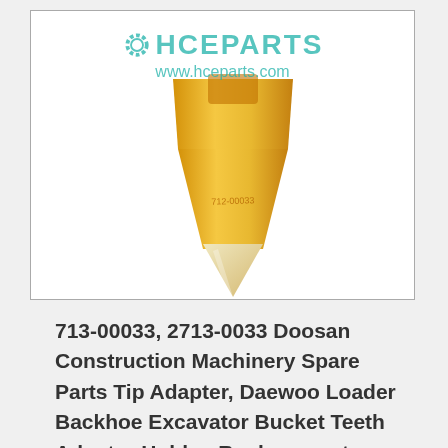[Figure (photo): Yellow excavator bucket tooth / tip adapter part (part number 712-00033 stamped on it) on white background with HCEParts watermark logo and www.hceparts.com URL]
713-00033, 2713-0033 Doosan Construction Machinery Spare Parts Tip Adapter, Daewoo Loader Backhoe Excavator Bucket Teeth Adaptor Holder, Replacement Doosan Daewoo